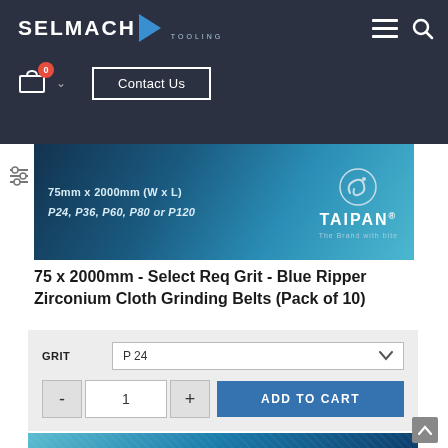SELMACH TOOLING — Contact Us — Cart 0
[Figure (photo): Product banner image for 75x2000mm Blue Ripper Zirconium Cloth Grinding Belts with Taipan branding on blue textured background. Text: 75mm x 2000mm (W x L), P24, P36, P60, P80 or P120]
75 x 2000mm - Select Req Grit - Blue Ripper Zirconium Cloth Grinding Belts (Pack of 10)
GRIT: P 24
- 1 + ADD TO CART
[Figure (photo): Bottom portion of blue abrasive grinding belt texture, partially visible]